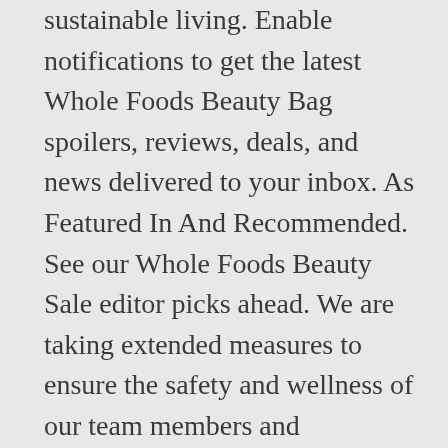sustainable living. Enable notifications to get the latest Whole Foods Beauty Bag spoilers, reviews, deals, and news delivered to your inbox. As Featured In And Recommended. See our Whole Foods Beauty Sale editor picks ahead. We are taking extended measures to ensure the safety and wellness of our team members and communities at this time. Whole Foods is celebrating Beauty Week 2020 with the return of their highly popular limited edition Whole Foods Beauty Bag – AND a week full of savings! Keep reading for product recommendations on what to shop this weekend at the Whole Foods Fall Self-Care Sale (just keep in mind prices and availability vary by your store location). Starting Friday, March 13,